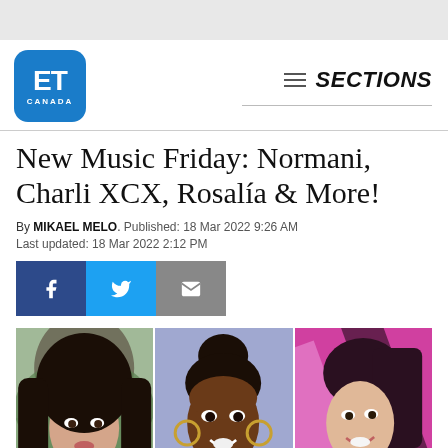[Figure (logo): ET Canada logo - blue rounded square with ET text and CANADA below]
SECTIONS
New Music Friday: Normani, Charli XCX, Rosalía & More!
By MIKAEL MELO. Published: 18 Mar 2022 9:26 AM
Last updated: 18 Mar 2022 2:12 PM
[Figure (infographic): Social share buttons: Facebook (dark blue), Twitter (light blue), Email (gray)]
[Figure (photo): Three celebrity photos side by side: left - woman with long dark hair in pink dress (Rosalía), center - Black woman with hair up in bun wearing gold hoop earrings (Normani), right - woman with dark hair pulled back smiling (Charli XCX) against pink background]